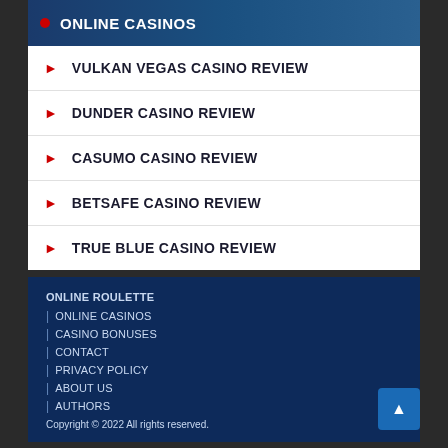ONLINE CASINOS
VULKAN VEGAS CASINO REVIEW
DUNDER CASINO REVIEW
CASUMO CASINO REVIEW
BETSAFE CASINO REVIEW
TRUE BLUE CASINO REVIEW
ONLINE ROULETTE | ONLINE CASINOS | CASINO BONUSES | CONTACT | PRIVACY POLICY | ABOUT US | AUTHORS | Copyright © 2022 All rights reserved.